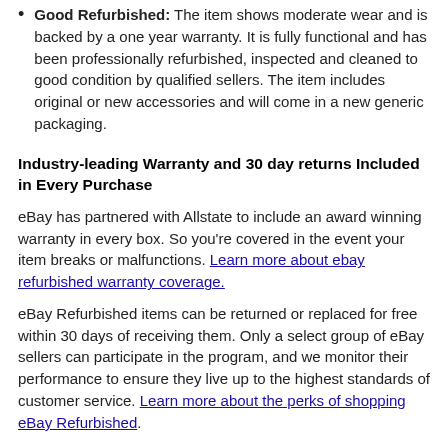Good Refurbished: The item shows moderate wear and is backed by a one year warranty. It is fully functional and has been professionally refurbished, inspected and cleaned to good condition by qualified sellers. The item includes original or new accessories and will come in a new generic packaging.
Industry-leading Warranty and 30 day returns Included in Every Purchase
eBay has partnered with Allstate to include an award winning warranty in every box. So you're covered in the event your item breaks or malfunctions. Learn more about ebay refurbished warranty coverage.
eBay Refurbished items can be returned or replaced for free within 30 days of receiving them. Only a select group of eBay sellers can participate in the program, and we monitor their performance to ensure they live up to the highest standards of customer service. Learn more about the perks of shopping eBay Refurbished.
Returns Made Simple How It Works